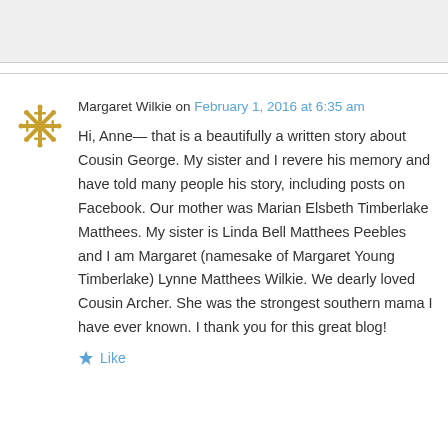Margaret Wilkie on February 1, 2016 at 6:35 am
Hi, Anne— that is a beautifully a written story about Cousin George. My sister and I revere his memory and have told many people his story, including posts on Facebook. Our mother was Marian Elsbeth Timberlake Matthees. My sister is Linda Bell Matthees Peebles and I am Margaret (namesake of Margaret Young Timberlake) Lynne Matthees Wilkie. We dearly loved Cousin Archer. She was the strongest southern mama I have ever known. I thank you for this great blog!
Like